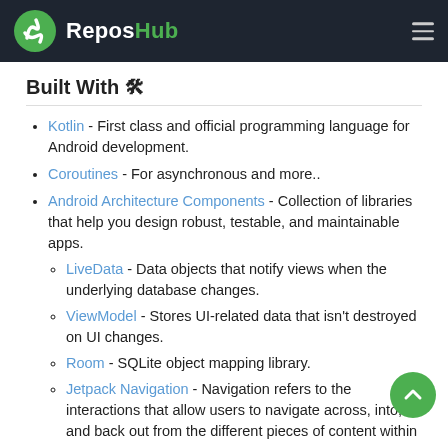ReposHub
Built With 🛠
Kotlin - First class and official programming language for Android development.
Coroutines - For asynchronous and more..
Android Architecture Components - Collection of libraries that help you design robust, testable, and maintainable apps.
LiveData - Data objects that notify views when the underlying database changes.
ViewModel - Stores UI-related data that isn't destroyed on UI changes.
Room - SQLite object mapping library.
Jetpack Navigation - Navigation refers to the interactions that allow users to navigate across, into, and back out from the different pieces of content within your app.